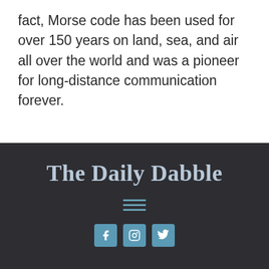fact, Morse code has been used for over 150 years on land, sea, and air all over the world and was a pioneer for long-distance communication forever.
The Daily Dabble
[Figure (other): Hamburger menu icon (three horizontal lines) and three social media icon buttons in blue-gray color, displayed in the dark footer area]